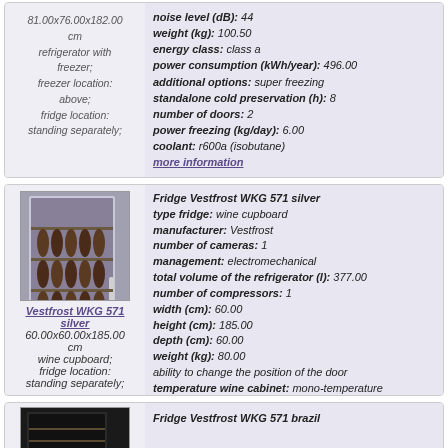81.00x76.00x182.00 cm refrigerator with freezer; freezer location: above; fridge location: standing separately;
noise level (dB): 44
weight (kg): 100.50
energy class: class a
power consumption (kWh/year): 496.00
additional options: super freezing
standalone cold preservation (h): 8
number of doors: 2
power freezing (kg/day): 6.00
coolant: r600a (isobutane)
more information
[Figure (photo): Photo of Vestfrost WKG 571 silver wine cupboard refrigerator]
Vestfrost WKG 571 silver
60.00x60.00x185.00 cm
wine cupboard;
fridge location: standing separately;
Fridge Vestfrost WKG 571 silver
type fridge: wine cupboard
manufacturer: Vestfrost
number of cameras: 1
management: electromechanical
total volume of the refrigerator (l): 377.00
number of compressors: 1
width (cm): 60.00
height (cm): 185.00
depth (cm): 60.00
weight (kg): 80.00
ability to change the position of the door
temperature wine cabinet: mono-temperature
volume of wine cabinet (bottle): 106
number of doors: 1
more information
[Figure (photo): Partial photo of Vestfrost WKG 571 brazil refrigerator]
Fridge Vestfrost WKG 571 brazil